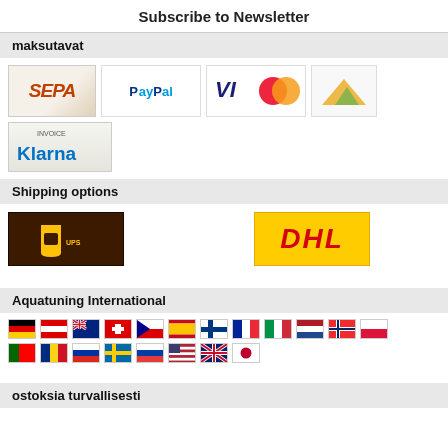Subscribe to Newsletter
maksutavat
[Figure (logo): Payment method logos: SEPA, PayPal, Visa, another card logo, Klarna Invoice]
Shipping options
[Figure (logo): Shipping logos: UPS and DHL]
Aquatuning International
[Figure (other): Country flag icons for international shipping destinations arranged in two rows]
ostoksia turvallisesti